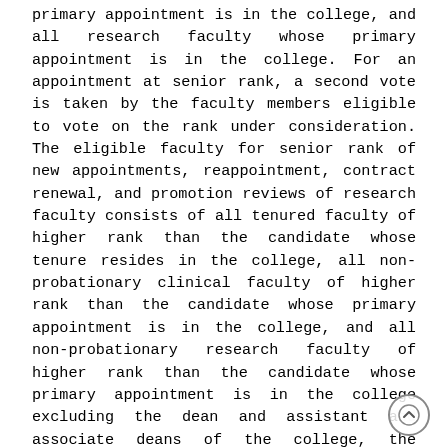primary appointment is in the college, and all research faculty whose primary appointment is in the college. For an appointment at senior rank, a second vote is taken by the faculty members eligible to vote on the rank under consideration. The eligible faculty for senior rank of new appointments, reappointment, contract renewal, and promotion reviews of research faculty consists of all tenured faculty of higher rank than the candidate whose tenure resides in the college, all non-probationary clinical faculty of higher rank than the candidate whose primary appointment is in the college, and all non-probationary research faculty of higher rank than the candidate whose primary appointment is in the college excluding the dean and assistant and associate deans of the college, the executive vice president and provost, and the president Associated Faculty The eligible faculty to vote for senior appointment or promotion of associated faculty/clinical practice faculty is the same as for promotion of clinical faculty Conflict of Interest (COI) A COI occurs when the faculty member stands to gain or lose personally and/or professionally from the outcome of the review of a candidate. The faculty member with a conflict of interest should provide written communication to the APT